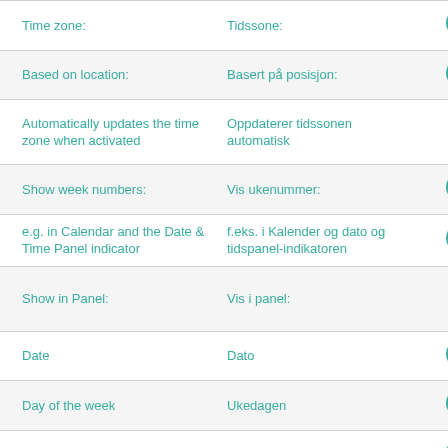| English | Norwegian | Status |
| --- | --- | --- |
| Time zone: | Tidssone: | checkmark |
| Based on location: | Basert på posisjon: | checkmark |
| Automatically updates the time zone when activated | Oppdaterer tidssonen automatisk | doc+warning |
| Show week numbers: | Vis ukenummer: | checkmark |
| e.g. in Calendar and the Date & Time Panel indicator | f.eks. i Kalender og dato og tidspanel-indikatoren | checkmark |
| Show in Panel: | Vis i panel: | doc+warning |
| Date | Dato | checkmark |
| Day of the week | Ukedagen | checkmark |
| Seconds | Sekunder | checkmark |
| Date & Time | Tid og dato | checkmark |